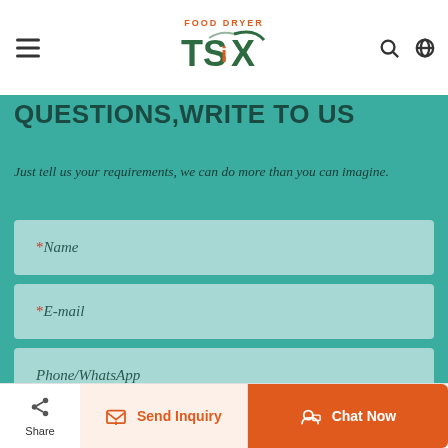FOOD DRYER TSiX logo header with hamburger menu, search icon, and globe icon
QUESTIONS,WRITE TO US
Just tell us your requirements, we can do more than you can imagine.
*Name (form field)
*E-mail (form field)
Phone/WhatsApp (form field)
Share | Send Inquiry | Chat Now